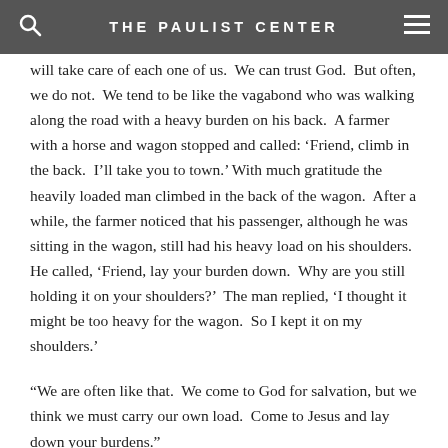THE PAULIST CENTER
difficulties and problems, that you could be freed from your cares?....You can! Our cares may be transferred to God. God will take care of each one of us.  We can trust God.  But often, we do not.  We tend to be like the vagabond who was walking along the road with a heavy burden on his back.  A farmer with a horse and wagon stopped and called: ‘Friend, climb in the back.  I’ll take you to town.’ With much gratitude the heavily loaded man climbed in the back of the wagon.  After a while, the farmer noticed that his passenger, although he was sitting in the wagon, still had his heavy load on his shoulders.  He called, ‘Friend, lay your burden down.  Why are you still holding it on your shoulders?’  The man replied, ‘I thought it might be too heavy for the wagon.  So I kept it on my shoulders.’
“We are often like that.  We come to God for salvation, but we think we must carry our own load.  Come to Jesus and lay down your burdens.”